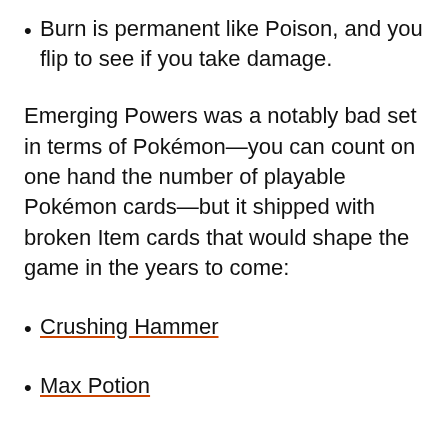Burn is permanent like Poison, and you flip to see if you take damage.
Emerging Powers was a notably bad set in terms of Pokémon—you can count on one hand the number of playable Pokémon cards—but it shipped with broken Item cards that would shape the game in the years to come:
Crushing Hammer
Max Potion